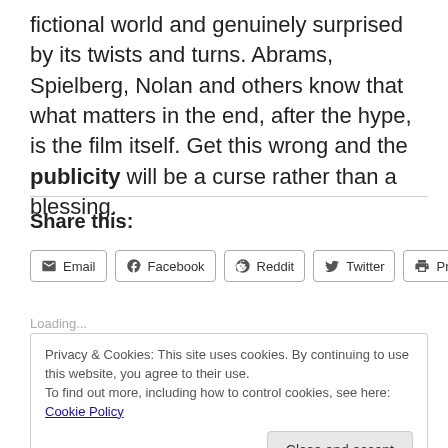fictional world and genuinely surprised by its twists and turns. Abrams, Spielberg, Nolan and others know that what matters in the end, after the hype, is the film itself. Get this wrong and the publicity will be a curse rather than a blessing.
Share this:
Email | Facebook | Reddit | Twitter | Print
Loading...
Privacy & Cookies: This site uses cookies. By continuing to use this website, you agree to their use. To find out more, including how to control cookies, see here: Cookie Policy